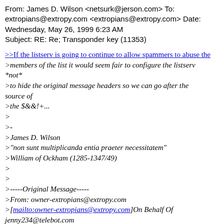From: James D. Wilson <netsurk@jersen.com> To: extropians@extropy.com <extropians@extropy.com> Date: Wednesday, May 26, 1999 6:23 AM
Subject: RE: Re; Transponder key (11353)
>If the listserv is going to continue to allow spammers to abuse the
>members of the list it would seem fair to configure the listserv *not*
>to hide the original message headers so we can go after the source of
>the $&!+...
>
>-
>James D. Wilson
>"non sunt multiplicanda entia praeter necessitatem"
>William of Ockham (1285-1347/49)
>
>
>-----Original Message-----
>From: owner-extropians@extropy.com
>[mailto:owner-extropians@extropy.com]On Behalf Of jenny234@telebot.com
>Sent: Tuesday, May 25, 1999 7:43 AM
>Subject: Re; Transponder key (11353)
>
>